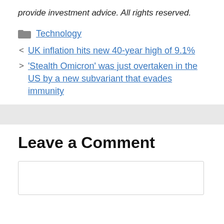provide investment advice. All rights reserved.
Technology
UK inflation hits new 40-year high of 9.1%
'Stealth Omicron' was just overtaken in the US by a new subvariant that evades immunity
Leave a Comment